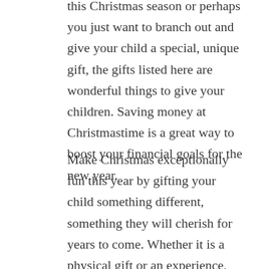this Christmas season or perhaps you just want to branch out and give your child a special, unique gift, the gifts listed here are wonderful things to give your children. Saving money at Christmastime is a great way to boost your financial goals for the new year.
Make Christmas exceptionally fun this year by gifting your child something different, something they will cherish for years to come. Whether it is a physical gift or an experience, the cost isn't the thing that matters.